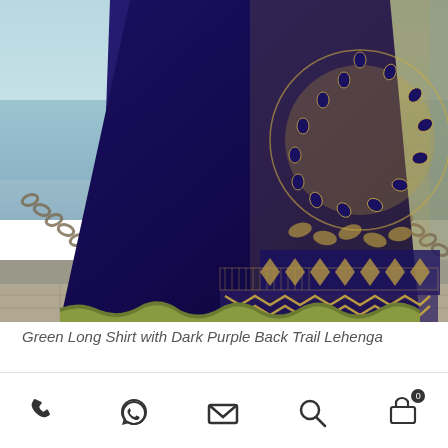[Figure (photo): A close-up photograph of a woman wearing a dark navy/purple velvet lehenga (skirt) with intricate gold embroidery, beading, and green border trim, set against a waterfront background with chains and stone paving.]
Green Long Shirt with Dark Purple Back Trail Lehenga
[Figure (infographic): Bottom navigation toolbar with phone, WhatsApp, email, search, and shopping cart (with badge '0') icons.]